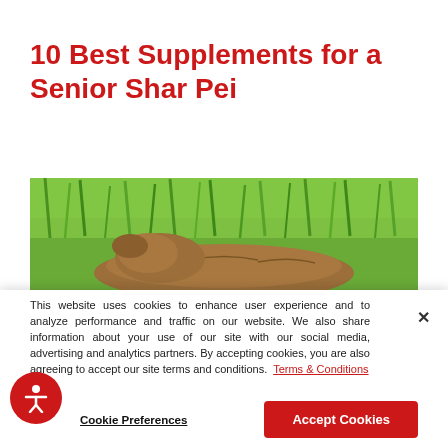10 Best Supplements for a Senior Shar Pei
[Figure (photo): Photo of a Shar Pei dog in green grass, viewed from above/behind showing its wrinkled back and head against lush greenery]
This website uses cookies to enhance user experience and to analyze performance and traffic on our website. We also share information about your use of our site with our social media, advertising and analytics partners. By accepting cookies, you are also agreeing to accept our site terms and conditions. Terms & Conditions
Cookie Preferences   Accept Cookies